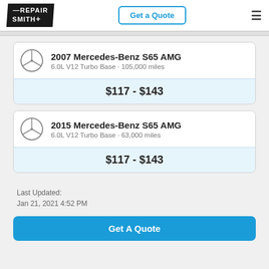[Figure (logo): RepairSmith logo in black banner]
Get a Quote
2007 Mercedes-Benz S65 AMG
6.0L V12 Turbo Base · 105,000 miles
$117 - $143
2015 Mercedes-Benz S65 AMG
6.0L V12 Turbo Base · 63,000 miles
$117 - $143
Last Updated:
Jan 21, 2021 4:52 PM
Get A Quote